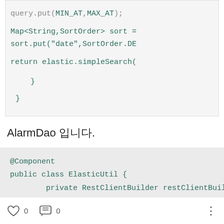[Figure (screenshot): Code block showing Java code snippet with Map sort and return elastic.simpleSearch call, closing braces]
AlarmDao 입니다.
[Figure (screenshot): Code block showing @Component annotation, public class ElasticUtil with private RestClientBuilder restClientBuilder]
0  0  ···